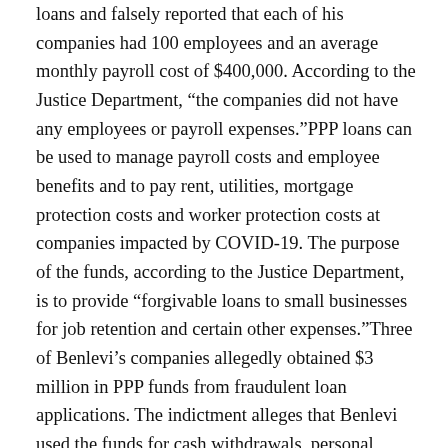loans and falsely reported that each of his companies had 100 employees and an average monthly payroll cost of $400,000. According to the Justice Department, “the companies did not have any employees or payroll expenses.”PPP loans can be used to manage payroll costs and employee benefits and to pay rent, utilities, mortgage protection costs and worker protection costs at companies impacted by COVID-19. The purpose of the funds, according to the Justice Department, is to provide “forgivable loans to small businesses for job retention and certain other expenses.”Three of Benlevi’s companies allegedly obtained $3 million in PPP funds from fraudulent loan applications. The indictment alleges that Benlevi used the funds for cash withdrawals, personal credit card payments and transfers to other personal and business accounts. At one point, Benlevi used cashier’s checks to withdraw $248,000 from Bestways2 Health, one of his businesses.Benlevi is charged with six counts of bank fraud and false statements